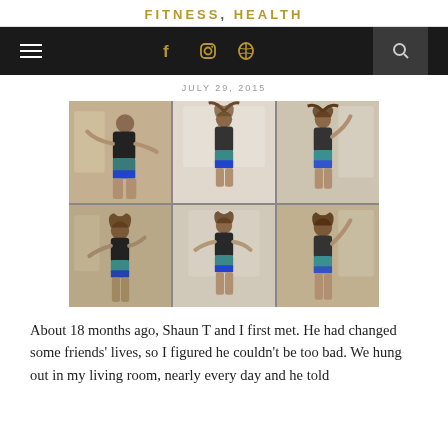FITNESS, HEALTH
[Figure (other): Navigation bar with hamburger menu, social icons (Facebook, Instagram, Pinterest), and search icon on dark background]
JULY 29, 2015
[Figure (photo): 6-panel photo grid (2 rows x 3 columns) showing a woman in workout attire (black sports bra, teal/blue shorts) posing in various positions in a living room, demonstrating fitness moves]
About 18 months ago, Shaun T and I first met. He had changed some friends' lives, so I figured he couldn't be too bad. We hung out in my living room, nearly every day and he told